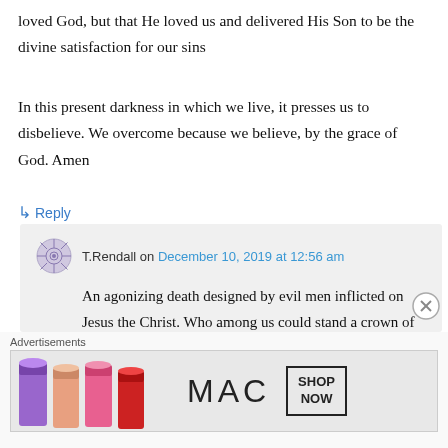loved God, but that He loved us and delivered His Son to be the divine satisfaction for our sins
In this present darkness in which we live, it presses us to disbelieve. We overcome because we believe, by the grace of God. Amen
↳ Reply
T.Rendall on December 10, 2019 at 12:56 am
An agonizing death designed by evil men inflicted on Jesus the Christ. Who among us could stand a crown of needles pressed
Advertisements
[Figure (photo): MAC cosmetics advertisement banner showing lipsticks in purple, peach, and pink/red colors with MAC logo and SHOP NOW button]